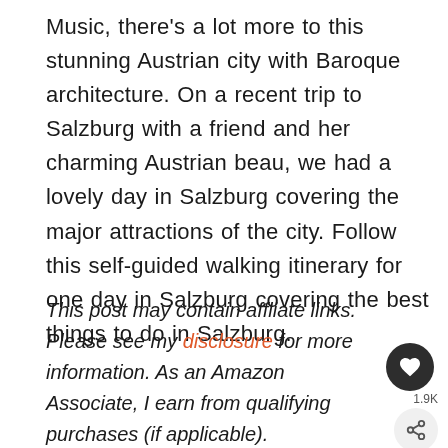Music, there's a lot more to this stunning Austrian city with Baroque architecture. On a recent trip to Salzburg with a friend and her charming Austrian beau, we had a lovely day in Salzburg covering the major attractions of the city. Follow this self-guided walking itinerary for one day in Salzburg covering the best things to do in Salzburg.
This post may contain affliate links. Please see my disclosure for more information. As an Amazon Associate, I earn from qualifying purchases (if applicable).